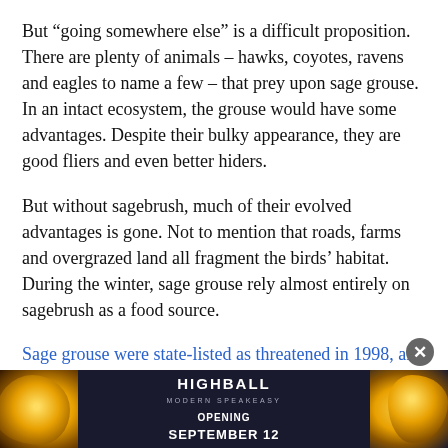But “going somewhere else” is a difficult proposition. There are plenty of animals – hawks, coyotes, ravens and eagles to name a few – that prey upon sage grouse. In an intact ecosystem, the grouse would have some advantages. Despite their bulky appearance, they are good fliers and even better hiders.
But without sagebrush, much of their evolved advantages is gone. Not to mention that roads, farms and overgrazed land all fragment the birds’ habitat. During the winter, sage grouse rely almost entirely on sagebrush as a food source.
Sage grouse were state-listed as threatened in 1998, and a state recovery plan was completed in 2004. Under that plan, s[...] below 650 bi[...] e
[Figure (screenshot): Advertisement banner for Highball Modern Speakeasy, opening September 12, with dark background and golden cocktail imagery. An X close button appears in the top right corner of the ad.]